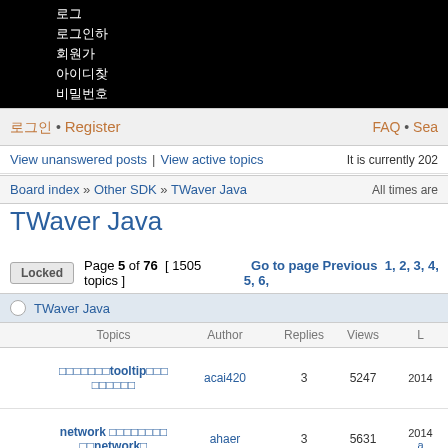로그
로그인하
회원가
아이디찾
비밀번호
로그인 • Register  |  FAQ • Sea
View unanswered posts | View active topics  |  It is currently 202
Board index » Other SDK » TWaver Java  |  All times are
TWaver Java
Locked  Page 5 of 76  [ 1505 topics ]  Go to page Previous  1, 2, 3, 4, 5, 6,
| Topics | Author | Replies | Views | L |
| --- | --- | --- | --- | --- |
| TWaver Java |
| □□□□□□□tooltip□□□□□□□□ | acai420 | 3 | 5247 | 2014 |
| network □□□□□□□□□□network□ | ahaer | 3 | 5631 | 2014
a |
| □□□□□□□□□□□□□□ | 18346027558 | 1 | 4564 | 2014
Jo |